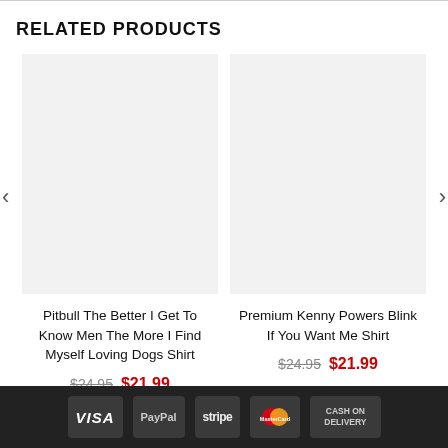RELATED PRODUCTS
[Figure (photo): Product image placeholder (light grey box) for Pitbull The Better I Get To Know Men The More I Find Myself Loving Dogs Shirt]
Pitbull The Better I Get To Know Men The More I Find Myself Loving Dogs Shirt
$24.95  $21.99
[Figure (photo): Product image placeholder (light grey box) for Premium Kenny Powers Blink If You Want Me Shirt]
Premium Kenny Powers Blink If You Want Me Shirt
$24.95  $21.99
VISA  PayPal  stripe  Mastercard  CASH ON DELIVERY